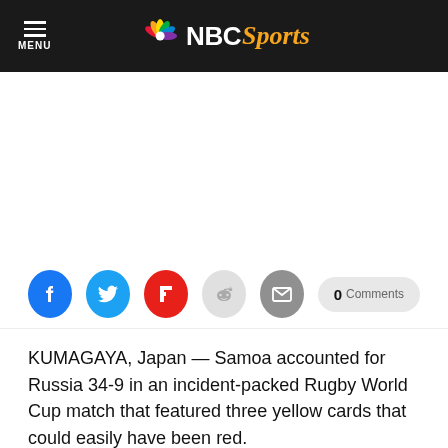NBC Sports
[Figure (other): Advertisement placeholder area (white space)]
Social share buttons: Facebook, Twitter, Flipboard, Reddit, Email. 0 Comments button.
KUMAGAYA, Japan — Samoa accounted for Russia 34-9 in an incident-packed Rugby World Cup match that featured three yellow cards that could easily have been red.
The difference was in how they managed their yellows on